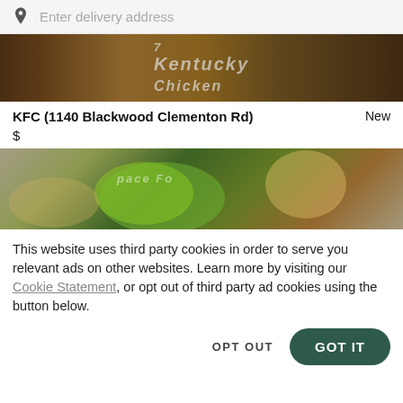[Figure (screenshot): Search bar with location pin icon and 'Enter delivery address' placeholder text on grey background]
[Figure (photo): KFC restaurant food photo showing Kentucky Fried Chicken branding with fried food items]
KFC (1140 Blackwood Clementon Rd)  New
$
[Figure (photo): Food photo showing colorful dishes with green vegetables and sesame-topped bun]
This website uses third party cookies in order to serve you relevant ads on other websites. Learn more by visiting our Cookie Statement, or opt out of third party ad cookies using the button below.
OPT OUT
GOT IT